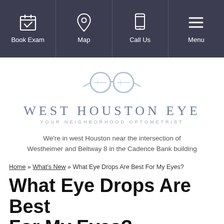[Figure (screenshot): Navigation bar with four icons: Book Exam (calendar with checkmark), Map (location pin), Call Us (mobile phone), Menu (hamburger lines)]
[Figure (logo): West Houston Eye logo: two circular eyeglass frames with nose bridge, text 'WEST HOUSTON EYE' and tagline 'YOUR NEIGHBORHOOD OPTOMETRIST']
We're in west Houston near the intersection of Westheimer and Beltway 8 in the Cadence Bank building
Home » What's New » What Eye Drops Are Best For My Eyes?
What Eye Drops Are Best For My Eyes?